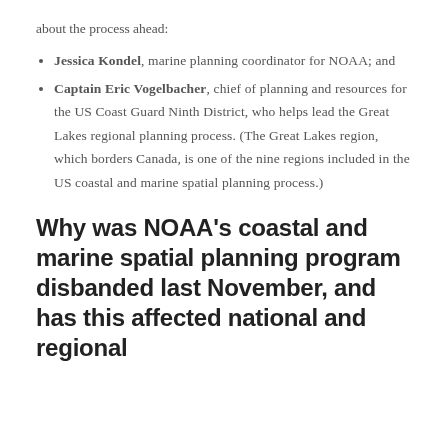about the process ahead:
Jessica Kondel, marine planning coordinator for NOAA; and
Captain Eric Vogelbacher, chief of planning and resources for the US Coast Guard Ninth District, who helps lead the Great Lakes regional planning process. (The Great Lakes region, which borders Canada, is one of the nine regions included in the US coastal and marine spatial planning process.)
Why was NOAA's coastal and marine spatial planning program disbanded last November, and has this affected national and regional